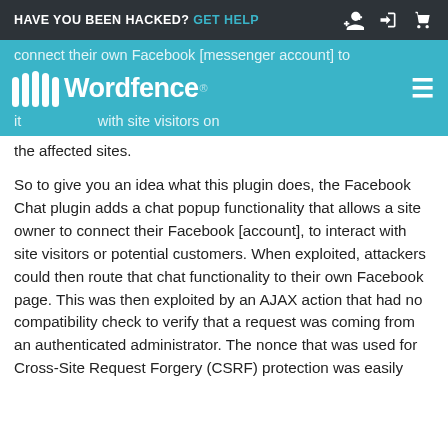HAVE YOU BEEN HACKED? GET HELP
[Figure (logo): Wordfence logo with teal/cyan background header bar, hamburger menu icon on right]
connect their own Facebook [messenger account] to [use] it with site visitors on the affected sites.
So to give you an idea what this plugin does, the Facebook Chat plugin adds a chat popup functionality that allows a site owner to connect their Facebook [account], to interact with site visitors or potential customers. When exploited, attackers could then route that chat functionality to their own Facebook page. This was then exploited by an AJAX action that had no compatibility check to verify that a request was coming from an authenticated administrator. The nonce that was used for Cross-Site Request Forgery (CSRF) protection was easily